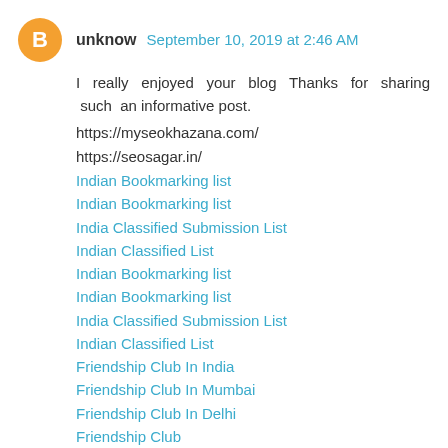unknow  September 10, 2019 at 2:46 AM
I really enjoyed your blog Thanks for sharing such an informative post.
https://myseokhazana.com/
https://seosagar.in/
Indian Bookmarking list
Indian Bookmarking list
India Classified Submission List
Indian Classified List
Indian Bookmarking list
Indian Bookmarking list
India Classified Submission List
Indian Classified List
Friendship Club In India
Friendship Club In Mumbai
Friendship Club In Delhi
Friendship Club
Friendship Chandigarh
Reply